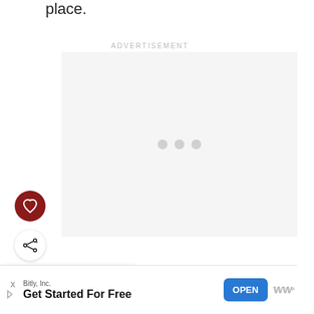place.
ADVERTISEMENT
[Figure (other): Advertisement placeholder box with three grey loading dots centered]
[Figure (other): Dark red circular button with white heart icon]
[Figure (other): White circular share/plus button]
WHAT'S NEXT → How To Get Clear Skin –...
[Figure (other): What's Next card preview image showing skin care visual]
Bitly, Inc. Get Started For Free
[Figure (other): OPEN button blue rectangle]
WWº